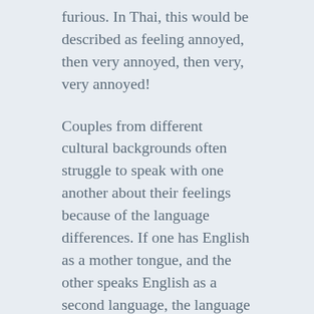furious. In Thai, this would be described as feeling annoyed, then very annoyed, then very, very annoyed!
Couples from different cultural backgrounds often struggle to speak with one another about their feelings because of the language differences. If one has English as a mother tongue, and the other speaks English as a second language, the language of emotion may be minimal between them.
When one learns a second language, often the nuances and meanings of many emotional words cannot be taught. We are able to ponder more about our feelings in our mother tongue, if we do so at all.